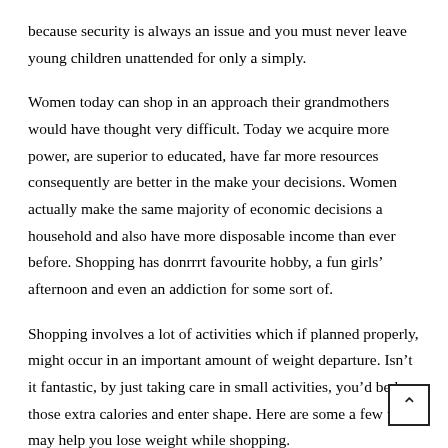because security is always an issue and you must never leave young children unattended for only a simply.
Women today can shop in an approach their grandmothers would have thought very difficult. Today we acquire more power, are superior to educated, have far more resources consequently are better in the make your decisions. Women actually make the same majority of economic decisions a household and also have more disposable income than ever before. Shopping has donrrrt favourite hobby, a fun girls’ afternoon and even an addiction for some sort of.
Shopping involves a lot of activities which if planned properly, might occur in an important amount of weight departure. Isn’t it fantastic, by just taking care in small activities, you’d be lose those extra calories and enter shape. Here are some a few tips may help you lose weight while shopping.
Do stop being afraid to work up a notch. An individual are want to up look and attract women, you have to all of them look to you twice. C…